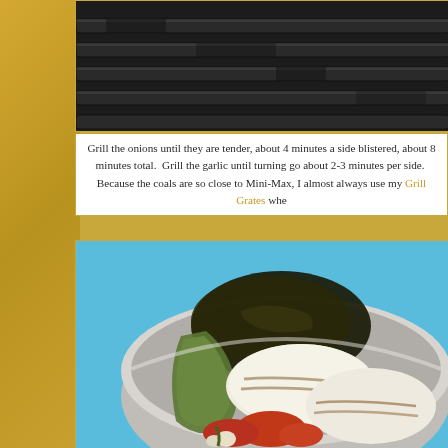[Figure (photo): Close-up of dark grill grates]
Grill the onions until they are tender, about 4 minutes a side blistered, about 8 minutes total. Grill the garlic until turning go about 2-3 minutes per side. Because the coals are so close to Mini-Max, I almost always use my Grill Grates whe
[Figure (photo): Grilled vegetables in a metal bowl: charred peppers, grilled onion slices, tomatoes, and garlic cloves]